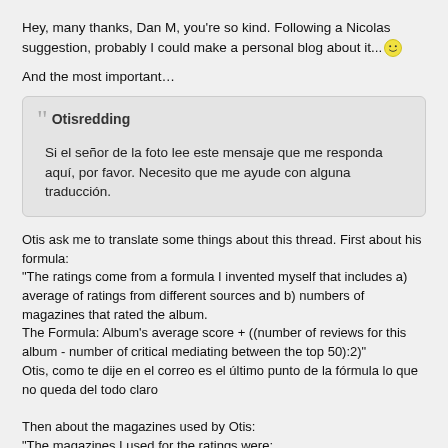Hey, many thanks, Dan M, you're so kind. Following a Nicolas suggestion, probably I could make a personal blog about it... 😊
And the most important…
Otisredding
Si el señor de la foto lee este mensaje que me responda aquí, por favor. Necesito que me ayude con alguna traducción.
Otis ask me to translate some things about this thread. First about his formula:
"The ratings come from a formula I invented myself that includes a) average of ratings from different sources and b) numbers of magazines that rated the album.
The Formula: Album's average score + ((number of reviews for this album - number of critical mediating between the top 50):2)"
Otis, como te dije en el correo es el último punto de la fórmula lo que no queda del todo claro

Then about the magazines used by Otis:
"The magazines I used for the ratings were:
USA: All Music Guide; AV Club; Cokemachineglow; One Thirty BPM;Pitchforkmedia, Popmatters, Rolling Stone, Slant, Spin, Tinymixtapes
UK: Drowned In Sound, The Guardian, Music OMH, NME, No Ripcord
EUR: Gaffa; Nojesguiden; Plattentests
SPA: Playgrounmag; Mondosonoro; Jenesaispop

And his explanations:
"I've been takin account of record ratings from 22 magazines for a while just for my own interest. That's why I weighted the ratings of three Spanish web-magazines that I usually consult, MondoSonoro, JeNeSaisPop and...